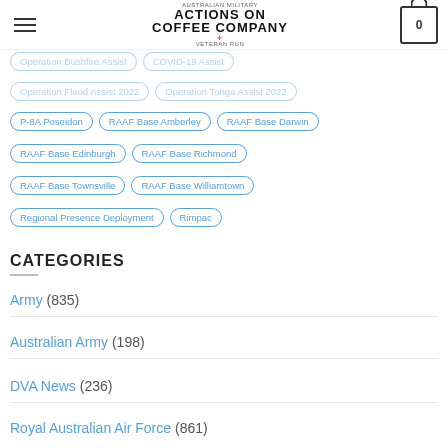Actions On Coffee Company
Operation Bushfire Assist | COVID-19 Assist
Operation Flood Assist 2022 | Operation Tonga Assist 2022
P-8A Poseidon | RAAF Base Amberley | RAAF Base Darwin
RAAF Base Edinburgh | RAAF Base Richmond
RAAF Base Townsville | RAAF Base Williamtown
Regional Presence Deployment | Rimpac
CATEGORIES
Army (835)
Australian Army (198)
DVA News (236)
Royal Australian Air Force (861)